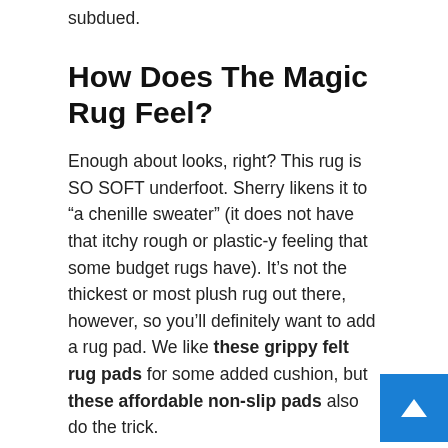subdued.
How Does The Magic Rug Feel?
Enough about looks, right? This rug is SO SOFT underfoot. Sherry likens it to “a chenille sweater” (it does not have that itchy rough or plastic-y feeling that some budget rugs have). It’s not the thickest or most plush rug out there, however, so you’ll definitely want to add a rug pad. We like these grippy felt rug pads for some added cushion, but these affordable non-slip pads also do the trick.
What Else Should I Know About The Magic Rug?